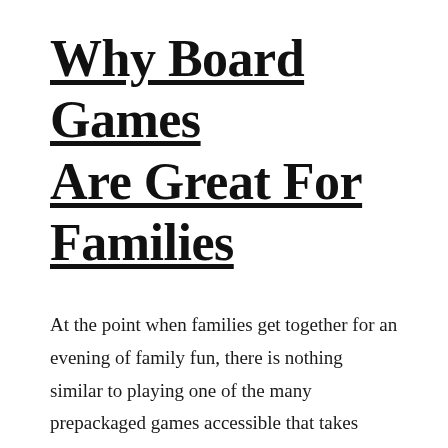Why Board Games Are Great For Families
At the point when families get together for an evening of family fun, there is nothing similar to playing one of the many prepackaged games accessible that takes special care of families. A considerable lot of these games made only for yourself as well as your family offers long periods of tomfoolery, for each individual […]